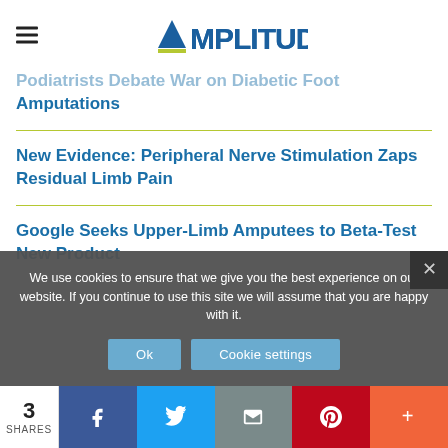AMPLITUDE
Podiatrists Debate War on Diabetic Foot Amputations
New Evidence: Peripheral Nerve Stimulation Zaps Residual Limb Pain
Google Seeks Upper-Limb Amputees to Beta-Test New Product
We use cookies to ensure that we give you the best experience on our website. If you continue to use this site we will assume that you are happy with it.
3 SHARES